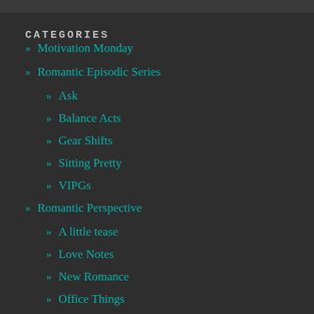CATEGORIES
Motivation Monday
Romantic Episodic Series
Ask
Balance Acts
Gear Shifts
Sitting Pretty
VIPGs
Romantic Perspective
A little tease
Love Notes
New Romance
Office Things